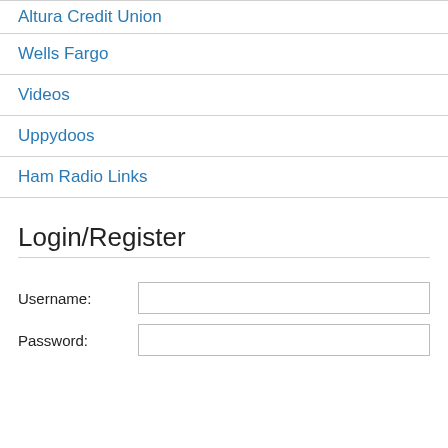Altura Credit Union
Wells Fargo
Videos
Uppydoos
Ham Radio Links
Login/Register
Username:
Password: